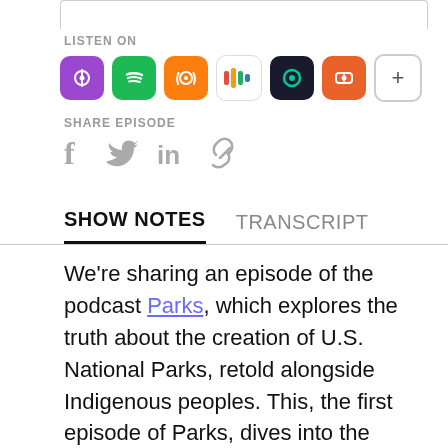LISTEN ON
[Figure (other): Podcast platform icons: Apple Podcasts (purple), Spotify (green), Overcast (orange), Podchaser (multicolor bars), Podcast Addict (black/green), Castbox (orange), and a + more button]
SHARE EPISODE
[Figure (other): Social share icons: Facebook (f), Twitter (bird), LinkedIn (in), and a link/chain icon]
SHOW NOTES
TRANSCRIPT
We're sharing an episode of the podcast Parks, which explores the truth about the creation of U.S. National Parks, retold alongside Indigenous peoples. This, the first episode of Parks, dives into the history of Yellowstone Park with guests Lynette Saint Clair (Eastern Shoshone) and Shane Doyle